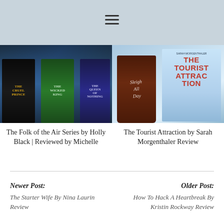[Figure (photo): Books from the Folk of the Air Series by Holly Black including The Cruel Prince, The Wicked King, and The Queen of Nothing displayed against a blue background]
The Folk of the Air Series by Holly Black | Reviewed by Michelle
[Figure (photo): The Tourist Attraction book by Sarah Morgenthaler next to a dark beer glass with sleigh all day written on it]
The Tourist Attraction by Sarah Morgenthaler Review
Newer Post:
The Starter Wife By Nina Laurin Review
Older Post:
How To Hack A Heartbreak By Kristin Rockway Review